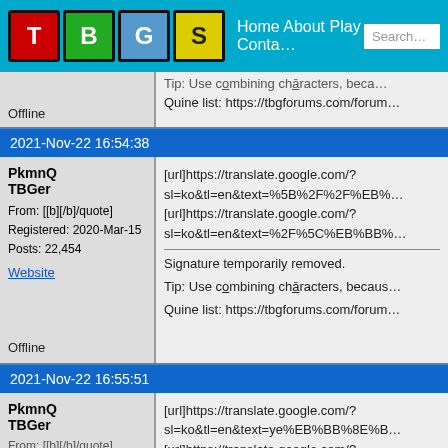TBGS | Home About Play Contact | Search
Tip: Use combining characters, because...
Quine list: https://tbgforums.com/forum...
Offline
2021-Nov-22  16:54:38
PkmnQ
TBGer
From: [[b][/b]/quote]
Registered: 2020-Mar-15
Posts: 22,454
Website
[url]https://translate.google.com/?sl=ko&tl=en&text=%5B%2F%2F%EB%...
[url]https://translate.google.com/?sl=ko&tl=en&text=%2F%5C%EB%BB%...
---
Signature temporarily removed.

Tip: Use combining characters, becaus...

Quine list: https://tbgforums.com/forum...
Offline
2021-Nov-22  16:55:51
PkmnQ
TBGer
[url]https://translate.google.com/?sl=ko&tl=en&text=ye%EB%BB%8E%B...
[url]https://translate.google.com/?...